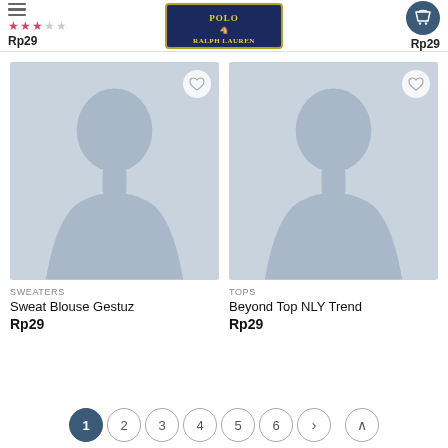Polo Ralph Lauren store header with hamburger menu, star rating, prices Rp29, logo, and cart icon
[Figure (photo): Product placeholder image showing silhouette of a person head/shoulders, for Sweat Blouse Gestuz]
SWEATERS
Sweat Blouse Gestuz
Rp29
[Figure (photo): Product placeholder image showing silhouette of a person head/shoulders, for Beyond Top NLY Trend]
TOPS
Beyond Top NLY Trend
Rp29
Pagination: 1 2 3 4 5 6 > ^